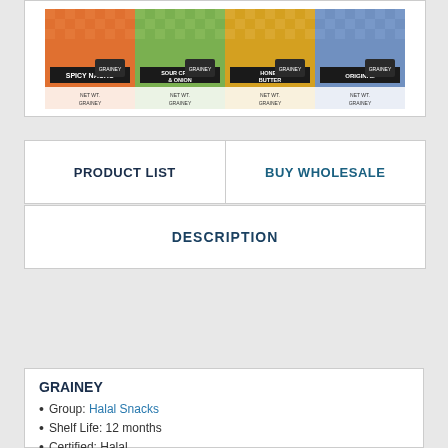[Figure (photo): Four product packages of Grainey snacks in different flavors: Spicy, Sour Cream & Onion, Honey Butter, and Original, each displayed with a checkered pattern background]
PRODUCT LIST
BUY WHOLESALE
DESCRIPTION
GRAINEY
Group: Halal Snacks
Shelf Life: 12 months
Certified: Halal